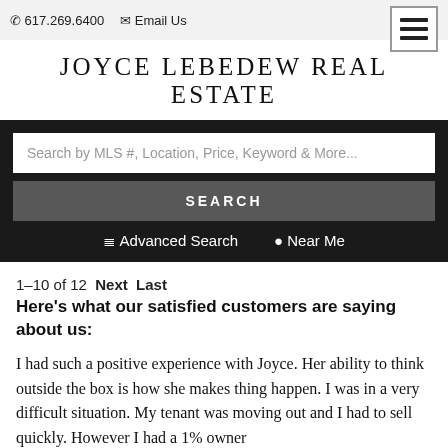617.269.6400  Email Us
JOYCE LEBEDEW REAL ESTATE
Search by MLS #, Location, Price, Keyword & More...
SEARCH
Advanced Search  Near Me
1–10 of 12  Next  Last
Here's what our satisfied customers are saying about us:
I had such a positive experience with Joyce. Her ability to think outside the box is how she makes thing happen. I was in a very difficult situation. My tenant was moving out and I had to sell quickly. However I had a 1% owner